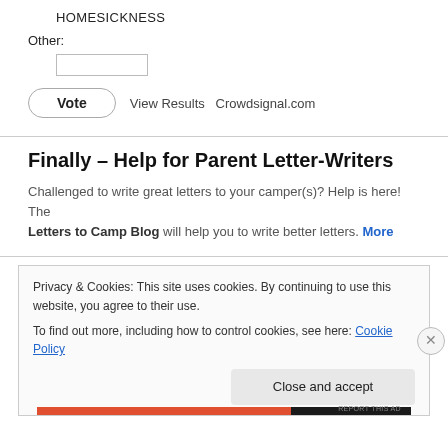HOMESICKNESS
Other:
Finally – Help for Parent Letter-Writers
Challenged to write great letters to your camper(s)? Help is here! The Letters to Camp Blog will help you to write better letters. More
Privacy & Cookies: This site uses cookies. By continuing to use this website, you agree to their use.
To find out more, including how to control cookies, see here: Cookie Policy